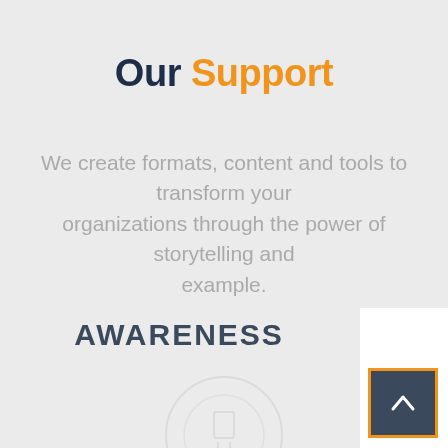Our Support
We create formats, content and tools to transform your organizations through the power of storytelling and example.
AWARENESS
[Figure (illustration): Circular decorative icon/graphic in light gray]
[Figure (other): Back-to-top navigation button with upward chevron arrow, dark navy background with orange border]